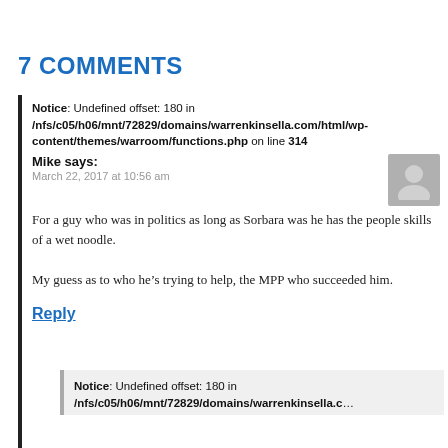7 COMMENTS
Notice: Undefined offset: 180 in /nfs/c05/h06/mnt/72829/domains/warrenkinsella.com/html/wp-content/themes/warroom/functions.php on line 314
Mike says:
March 22, 2017 at 10:56 am
For a guy who was in politics as long as Sorbara was he has the people skills of a wet noodle.

My guess as to who he's trying to help, the MPP who succeeded him.
Reply
Notice: Undefined offset: 180 in /nfs/c05/h06/mnt/72829/domains/warrenkinsella.c…